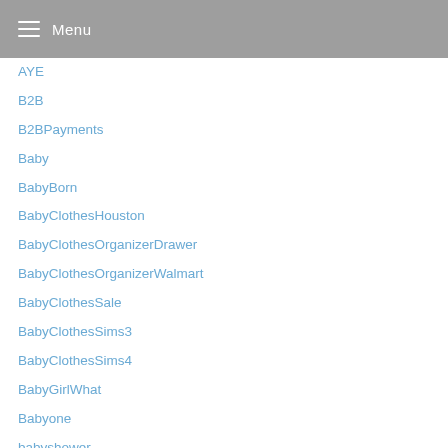Menu
AYE
B2B
B2BPayments
Baby
BabyBorn
BabyClothesHouston
BabyClothesOrganizerDrawer
BabyClothesOrganizerWalmart
BabyClothesSale
BabyClothesSims3
BabyClothesSims4
BabyGirlWhat
Babyone
babyshower
BachelorPad
BackpackConvertsToPlateCarrier
BackpackTurnsIntoPlateCarrier